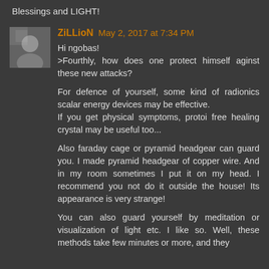Blessings and LIGHT!
ZiLLioN May 2, 2017 at 7:34 PM
Hi ngobas!
>Fourthly, how does one protect himself aginst these new attacks?

For defence of yourself, some kind of radionics scalar energy devices may be effective.
If you get physical symptoms, protoi free healing crystal may be useful too...

Also faraday cage or pyramid headgear can guard you. I made pyramid headgear of copper wire. And in my room sometimes I put it on my head. I recommend you not do it outside the house! Its appearance is very strange!

You can also guard yourself by meditation or visualization of light etc. I like so. Well, these methods take few minutes or more, and they